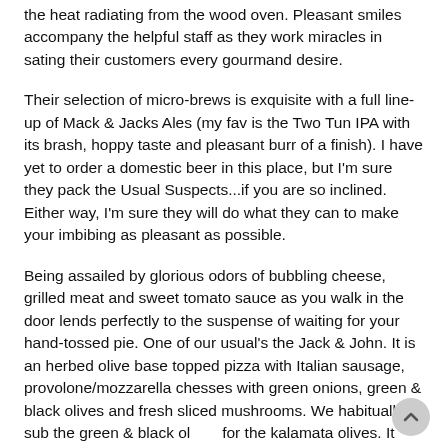the heat radiating from the wood oven. Pleasant smiles accompany the helpful staff as they work miracles in sating their customers every gourmand desire.
Their selection of micro-brews is exquisite with a full line-up of Mack & Jacks Ales (my fav is the Two Tun IPA with its brash, hoppy taste and pleasant burr of a finish). I have yet to order a domestic beer in this place, but I'm sure they pack the Usual Suspects...if you are so inclined. Either way, I'm sure they will do what they can to make your imbibing as pleasant as possible.
Being assailed by glorious odors of bubbling cheese, grilled meat and sweet tomato sauce as you walk in the door lends perfectly to the suspense of waiting for your hand-tossed pie. One of our usual's the Jack & John. It is an herbed olive base topped pizza with Italian sausage, provolone/mozzarella chesses with green onions, green & black olives and fresh sliced mushrooms. We habitually sub the green & black ol for the kalamata olives. It gives the pie a triumphant punch